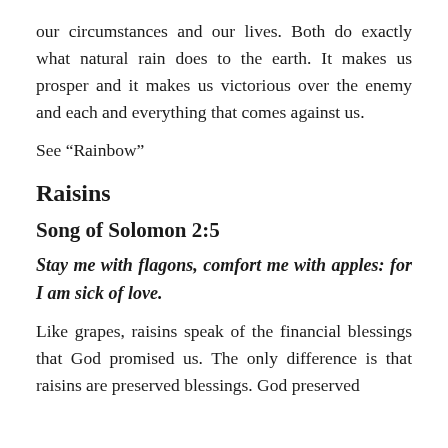our circumstances and our lives. Both do exactly what natural rain does to the earth. It makes us prosper and it makes us victorious over the enemy and each and everything that comes against us.
See “Rainbow”
Raisins
Song of Solomon 2:5
Stay me with flagons, comfort me with apples: for I am sick of love.
Like grapes, raisins speak of the financial blessings that God promised us. The only difference is that raisins are preserved blessings. God preserved